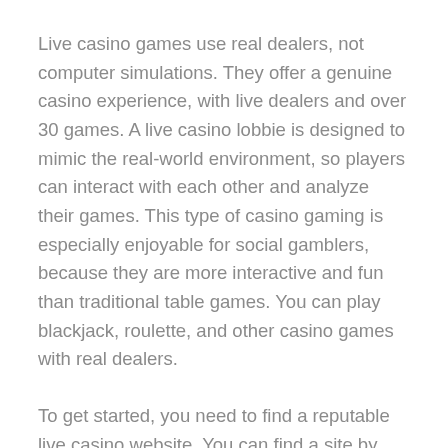Live casino games use real dealers, not computer simulations. They offer a genuine casino experience, with live dealers and over 30 games. A live casino lobbie is designed to mimic the real-world environment, so players can interact with each other and analyze their games. This type of casino gaming is especially enjoyable for social gamblers, because they are more interactive and fun than traditional table games. You can play blackjack, roulette, and other casino games with real dealers.
To get started, you need to find a reputable live casino website. You can find a site by searching the web for online casinos, and they will often feature a live casino section. From there, you can log in to the gaming lobby and play. Once you're in the live casino session, you'll be able to place your bets by computerised chips or through a live dealer. This type of live casino can also be accessed through BetOnline Casino bonus